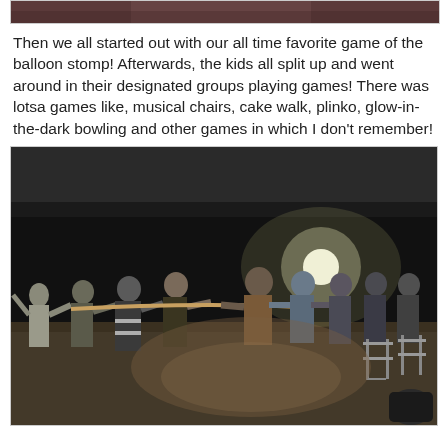[Figure (photo): Partial top of a photo showing a person, cropped at the top of the page]
Then we all started out with our all time favorite game of the balloon stomp! Afterwards, the kids all split up and went around in their designated groups playing games! There was lotsa games like, musical chairs, cake walk, plinko, glow-in-the-dark bowling and other games in which I don't remember!
[Figure (photo): Nighttime outdoor photo of a group of people playing tug-of-war. One person on the left wearing a reflective safety vest, others leaning and pulling a rope. Folding chairs visible on the right side. Scene lit by a distant light source in the background.]